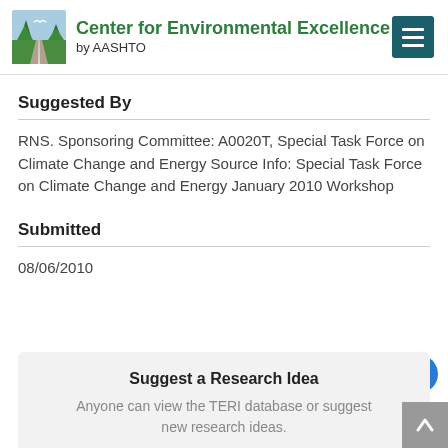[Figure (logo): Center for Environmental Excellence by AASHTO logo with tree and road icon, green text header and hamburger menu button]
Suggested By
RNS. Sponsoring Committee: A0020T, Special Task Force on Climate Change and Energy Source Info: Special Task Force on Climate Change and Energy January 2010 Workshop
Submitted
08/06/2010
Suggest a Research Idea
Anyone can view the TERI database or suggest new research ideas.